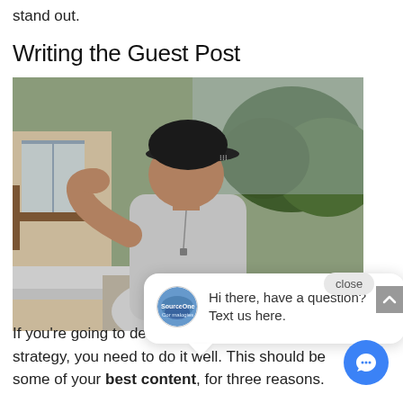stand out.
Writing the Guest Post
[Figure (photo): Person from behind wearing a black Adidas cap and grey t-shirt, photographed outdoors near a building with trees in background. Overlaid with a chat widget showing 'close' button and 'Hi there, have a question? Text us here.' message bubble, and a blue chat icon button.]
If you're going to dedicate time to a guest post strategy, you need to do it well. This should be some of your best content, for three reasons.